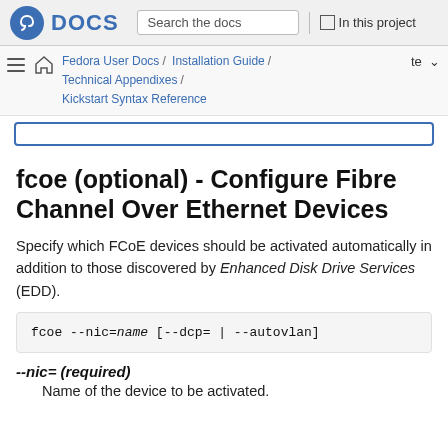Fedora DOCS — Search the docs | In this project
Fedora User Docs / Installation Guide / Technical Appendixes / Kickstart Syntax Reference
fcoe (optional) - Configure Fibre Channel Over Ethernet Devices
Specify which FCoE devices should be activated automatically in addition to those discovered by Enhanced Disk Drive Services (EDD).
--nic= (required)
Name of the device to be activated.